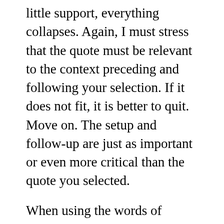little support, everything collapses. Again, I must stress that the quote must be relevant to the context preceding and following your selection. If it does not fit, it is better to quit. Move on. The setup and follow-up are just as important or even more critical than the quote you selected.
When using the words of others, get out of the habit of saying “he or she said.” Instead, use a verb to give a voice to the person you are quoting. The person spoken about can become the person speaking; when you use instead, he/she declared, proclaimed, suggested, exclaimed, complained, or remarked. And, this is where it gets a bit tricky for speakers. How do